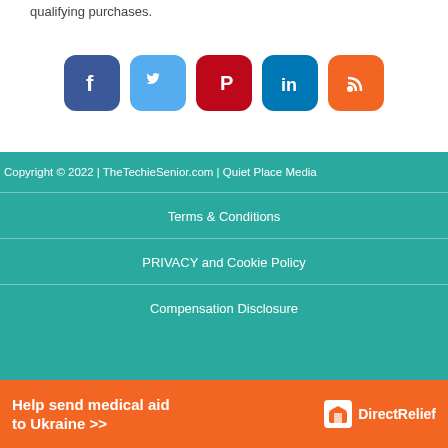qualifying purchases.
[Figure (other): Social media icons: Facebook, Twitter, Pinterest, LinkedIn, RSS feed]
Copyright © 2022 | TheTechieSenior.com | Quiet Place Media
Terms & Conditions
PRIVACY and Cookie Policy
Compensation Disclosure
[Figure (infographic): Help send medical aid to Ukraine >> DirectRelief banner advertisement]